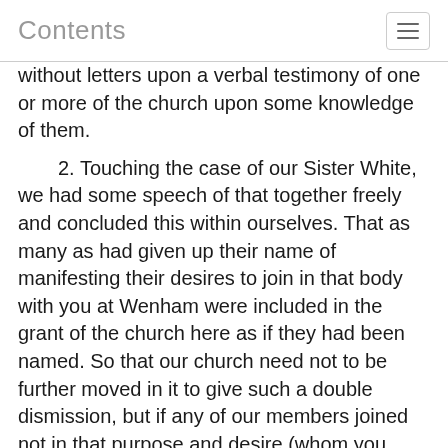Contents
without letters upon a verbal testimony of one or more of the church upon some knowledge of them.
    2. Touching the case of our Sister White, we had some speech of that together freely and concluded this within ourselves. That as many as had given up their name of manifesting their desires to join in that body with you at Wenham were included in the grant of the church here as if they had been named. So that our church need not to be further moved in it to give such a double dismission, but if any of our members joined not in that purpose and desire (whom you knew best) we think it fit and orderly that they receive letters of dismission here, which will not be denied them.